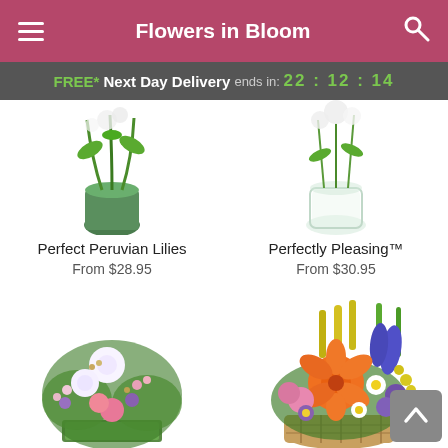Flowers in Bloom
FREE* Next Day Delivery ends in: 22 : 12 : 14
[Figure (photo): Top portion of two flower product images: left shows a vase with green-wrapped flowers, right shows a clear glass vase with flowers]
Perfect Peruvian Lilies
From $28.95
Perfectly Pleasing™
From $30.95
[Figure (photo): Bottom left: Pink and white flower arrangement with lilies and roses in a green rectangular box]
[Figure (photo): Bottom right: Colorful arrangement with orange lilies, purple and pink flowers, white daisies in a woven basket]